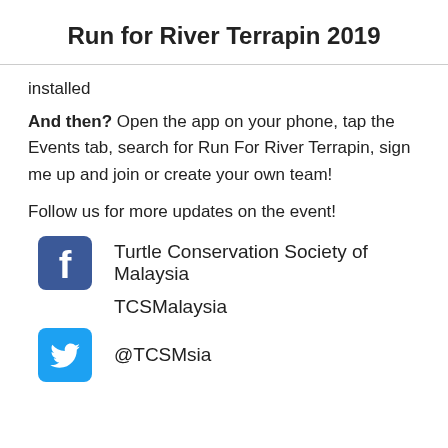Run for River Terrapin 2019
installed
And then? Open the app on your phone, tap the Events tab, search for Run For River Terrapin, sign me up and join or create your own team!
Follow us for more updates on the event!
Turtle Conservation Society of Malaysia
TCSMalaysia
@TCSMsia